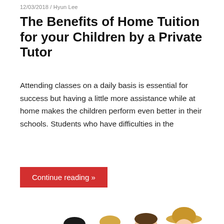12/03/2018 / Hyun Lee
The Benefits of Home Tuition for your Children by a Private Tutor
Attending classes on a daily basis is essential for success but having a little more assistance while at home makes the children perform even better in their schools. Students who have difficulties in the
Continue reading »
[Figure (photo): Group of four smiling students with backpacks standing together on white background: an Asian girl in orange jacket, a blonde girl in light blue top, a young man in grey t-shirt, and a girl in yellow top with a sun hat]